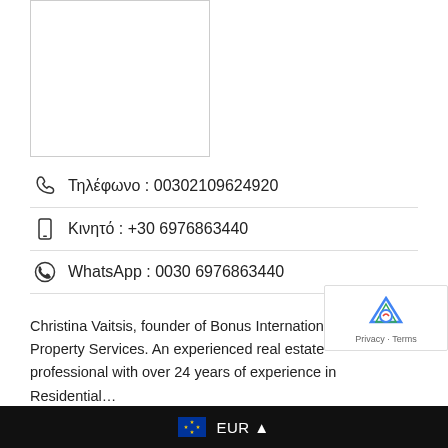[Figure (photo): Profile photo box (empty/white with border)]
Τηλέφωνο : 00302109624920
Κινητό : +30 6976863440
WhatsApp : 0030 6976863440
Christina Vaitsis, founder of Bonus International Property Services. An experienced real estate professional with over 24 years of experience in Residential…
Μάθετε περισσότερα
EUR ▲